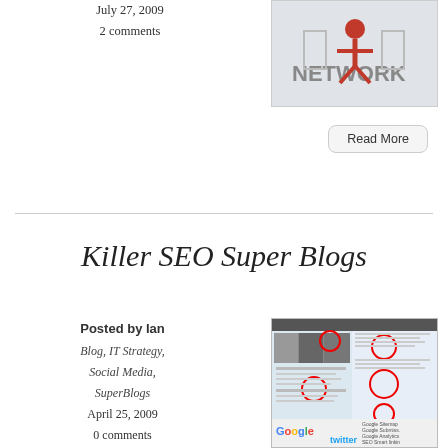July 27, 2009
2 comments
[Figure (photo): Network/social media concept image with red figure, word cloud including NETWORK, CONNECTIONS, INTERACTION]
Read More
Killer SEO Super Blogs
Posted by Ian
Blog, IT Strategy, Social Media, SuperBlogs
April 25, 2009
0 comments
[Figure (screenshot): Screenshot of a blog/website with red circle annotations, Google and Twitter logos visible at bottom]